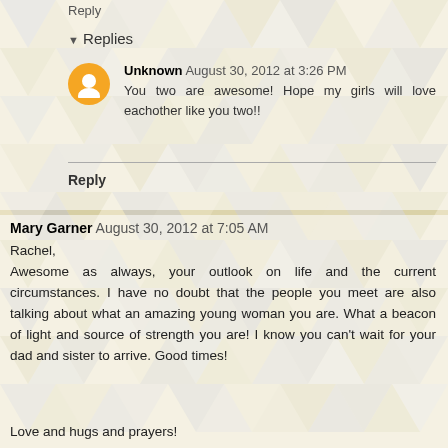Reply
▾ Replies
Unknown  August 30, 2012 at 3:26 PM
You two are awesome! Hope my girls will love eachother like you two!!
Reply
Mary Garner  August 30, 2012 at 7:05 AM
Rachel,
Awesome as always, your outlook on life and the current circumstances. I have no doubt that the people you meet are also talking about what an amazing young woman you are. What a beacon of light and source of strength you are! I know you can't wait for your dad and sister to arrive. Good times!
Love and hugs and prayers!